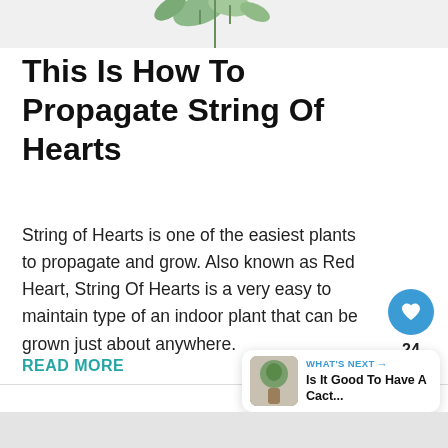[Figure (photo): Top portion of a plant article page showing decorative leaves/eucalyptus at the top]
This Is How To Propagate String Of Hearts
String of Hearts is one of the easiest plants to propagate and grow. Also known as Red Heart, String Of Hearts is a very easy to maintain type of an indoor plant that can be grown just about anywhere.
READ MORE
[Figure (infographic): What's Next panel showing thumbnail and text: Is It Good To Have A Cact...]